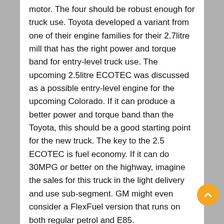motor. The four should be robust enough for truck use. Toyota developed a variant from one of their engine families for their 2.7litre mill that has the right power and torque band for entry-level truck use. The upcoming 2.5litre ECOTEC was discussed as a possible entry-level engine for the upcoming Colorado. If it can produce a better power and torque band than the Toyota, this should be a good starting point for the new truck. The key to the 2.5 ECOTEC is fuel economy. If it can do 30MPG or better on the highway, imagine the sales for this truck in the light delivery and use sub-segment. GM might even consider a FlexFuel version that runs on both regular petrol and E85.
The standard V6 is a key motor in this segment. Matching the numbers of the two dominant V6s is important for GM to consider. Toyota's 4.0litre runs